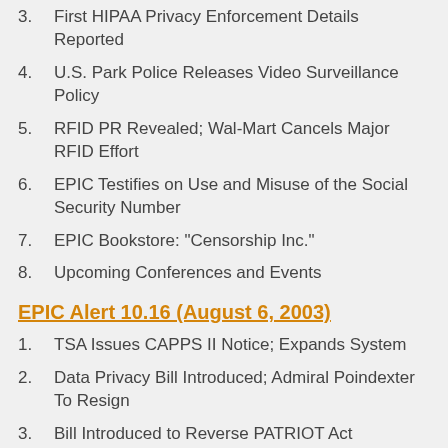3. First HIPAA Privacy Enforcement Details Reported
4. U.S. Park Police Releases Video Surveillance Policy
5. RFID PR Revealed; Wal-Mart Cancels Major RFID Effort
6. EPIC Testifies on Use and Misuse of the Social Security Number
7. EPIC Bookstore: "Censorship Inc."
8. Upcoming Conferences and Events
EPIC Alert 10.16 (August 6, 2003)
1. TSA Issues CAPPS II Notice; Expands System
2. Data Privacy Bill Introduced; Admiral Poindexter To Resign
3. Bill Introduced to Reverse PATRIOT Act Provisions
4. GAO Privacy Act Report Indicates Need for Better Compliance
5. Researchers Find Flaws in Electronic Voting
6. News in Brief